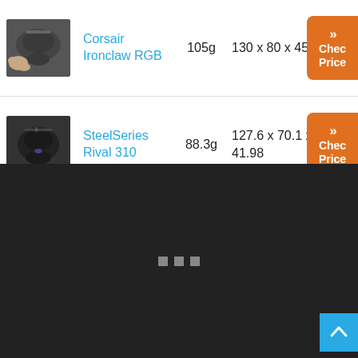| Image | Name | Weight | Dimensions | Action |
| --- | --- | --- | --- | --- |
| [image] | Corsair Ironclaw RGB | 105g | 130 x 80 x 45 | Check Price |
| [image] | SteelSeries Rival 310 | 88.3g | 127.6 x 70.1 x 41.98 | Check Price |
[Figure (screenshot): Dark background loading section with three small gray square dots in the center indicating a loading state, and a blue scroll-to-top button in the bottom right corner.]